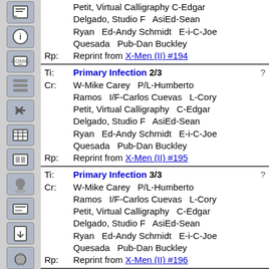Ti: Primary Infection 2/3
Cr: W-Mike Carey P/L-Humberto Ramos I/F-Carlos Cuevas L-Cory Petit, Virtual Calligraphy C-Edgar Delgado, Studio F AsiEd-Sean Ryan Ed-Andy Schmidt E-i-C-Joe Quesada Pub-Dan Buckley
Rp: Reprint from X-Men (II) #195
Ti: Primary Infection 3/3
Cr: W-Mike Carey P/L-Humberto Ramos I/F-Carlos Cuevas L-Cory Petit, Virtual Calligraphy C-Edgar Delgado, Studio F AsiEd-Sean Ryan Ed-Andy Schmidt E-i-C-Joe Quesada Pub-Dan Buckley
Rp: Reprint from X-Men (II) #196
Ti: Condition Critical 1/3
Cr: W-Mike Carey P/L-Christopher Bachalo I/F-Tim Townsend L-Cory Petit, Virtual Calligraphy C-Antonio Fabela, Studio F AsiEd-Sean Ryan Ed-Andy Schmidt E-i-C-Joe Quesada Pub-Dan Buckley